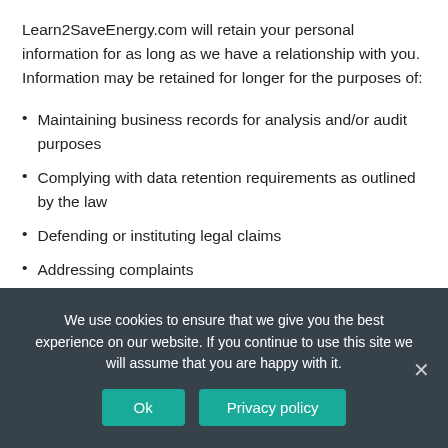Learn2SaveEnergy.com will retain your personal information for as long as we have a relationship with you. Information may be retained for longer for the purposes of:
Maintaining business records for analysis and/or audit purposes
Complying with data retention requirements as outlined by the law
Defending or instituting legal claims
Addressing complaints
We use cookies to ensure that we give you the best experience on our website. If you continue to use this site we will assume that you are happy with it.